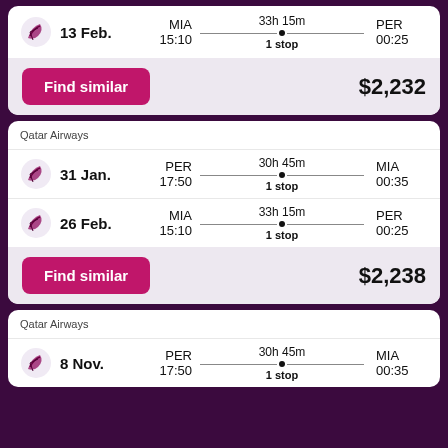[Figure (screenshot): Flight search result card (partial top): Qatar Airways, 13 Feb., MIA 15:10, 33h 15m 1 stop, PER 00:25. Price $2,232 with Find similar button.]
[Figure (screenshot): Flight search result card: Qatar Airways, outbound 31 Jan. PER 17:50 → MIA 00:35 30h 45m 1 stop; return 26 Feb. MIA 15:10 → PER 00:25 33h 15m 1 stop. Price $2,238 with Find similar button.]
[Figure (screenshot): Flight search result card (partial bottom): Qatar Airways, 8 Nov., PER 17:50, 30h 45m 1 stop, MIA 00:35.]